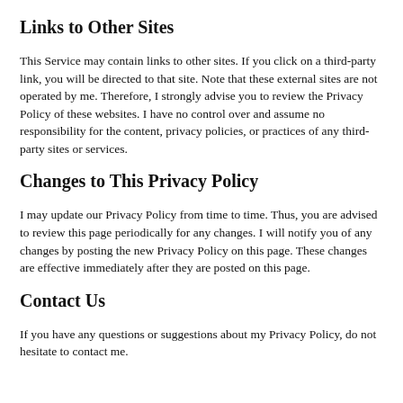Links to Other Sites
This Service may contain links to other sites. If you click on a third-party link, you will be directed to that site. Note that these external sites are not operated by me. Therefore, I strongly advise you to review the Privacy Policy of these websites. I have no control over and assume no responsibility for the content, privacy policies, or practices of any third-party sites or services.
Changes to This Privacy Policy
I may update our Privacy Policy from time to time. Thus, you are advised to review this page periodically for any changes. I will notify you of any changes by posting the new Privacy Policy on this page. These changes are effective immediately after they are posted on this page.
Contact Us
If you have any questions or suggestions about my Privacy Policy, do not hesitate to contact me.